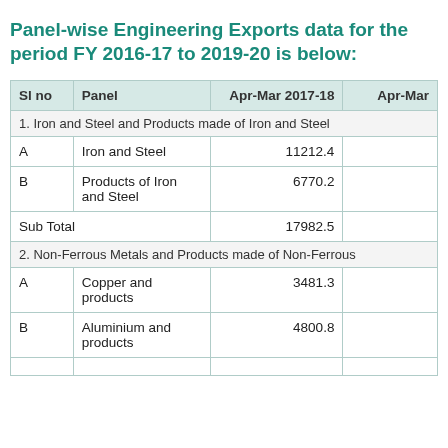Panel-wise Engineering Exports data for the period FY 2016-17 to 2019-20 is below:
| Sl no | Panel | Apr-Mar 2017-18 | Apr-Mar (truncated) |
| --- | --- | --- | --- |
| 1. Iron and Steel and Products made of Iron and Steel |  |  |  |
| A | Iron and Steel | 11212.4 |  |
| B | Products of Iron and Steel | 6770.2 |  |
| Sub Total |  | 17982.5 |  |
| 2. Non-Ferrous Metals and Products made of Non-Ferrous |  |  |  |
| A | Copper and products | 3481.3 |  |
| B | Aluminium and products | 4800.8 |  |